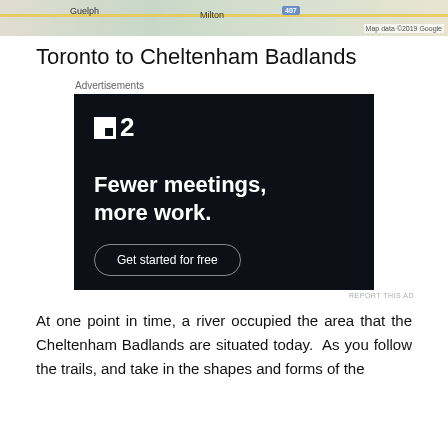[Figure (map): Map snippet showing Guelph, Milton, and highway 407 area with Google Maps attribution]
Toronto to Cheltenham Badlands
Advertisements
[Figure (other): Advertisement for Fewer meetings, more work. Get started for free.]
REPORT THIS AD
At one point in time, a river occupied the area that the Cheltenham Badlands are situated today.  As you follow the trails, and take in the shapes and forms of the